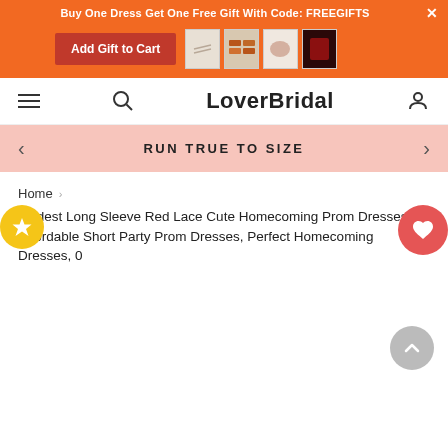Buy One Dress Get One Free Gift With Code: FREEGIFTS
Add Gift to Cart
LoverBridal
RUN TRUE TO SIZE
Home
Modest Long Sleeve Red Lace Cute Homecoming Prom Dresses, Affordable Short Party Prom Dresses, Perfect Homecoming Dresses, 0